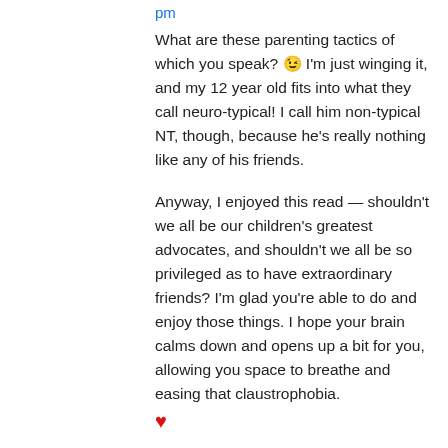pm
What are these parenting tactics of which you speak? 😉 I'm just winging it, and my 12 year old fits into what they call neuro-typical! I call him non-typical NT, though, because he's really nothing like any of his friends.
Anyway, I enjoyed this read — shouldn't we all be our children's greatest advocates, and shouldn't we all be so privileged as to have extraordinary friends? I'm glad you're able to do and enjoy those things. I hope your brain calms down and opens up a bit for you, allowing you space to breathe and easing that claustrophobia. ❤